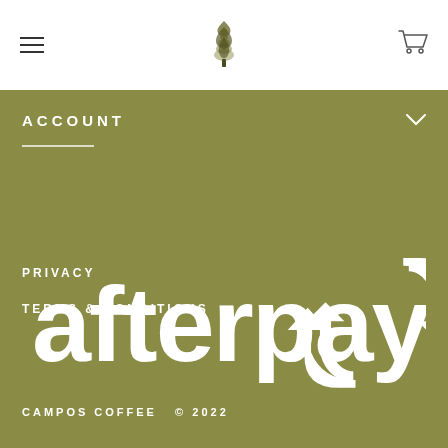Campos Coffee header with hamburger menu, logo, and cart icon
ACCOUNT
[Figure (logo): Afterpay logo in white on olive/khaki green background, showing 'afterpay' wordmark with recycling arrow icon]
PRIVACY
TERMS & CONDITIONS
CAMPOS COFFEE  © 2022